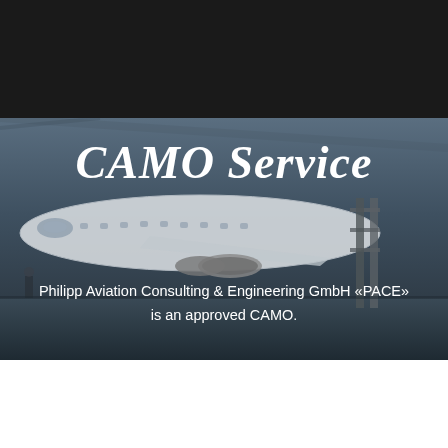[Figure (logo): PACE logo - white text and graphic on dark background, showing an aircraft/arrow motif with 'pace' text]
MENU
[Figure (photo): Aircraft in maintenance hangar, dark moody background with ground crew visible]
CAMO Service
Philipp Aviation Consulting & Engineering GmbH «PACE» is an approved CAMO.